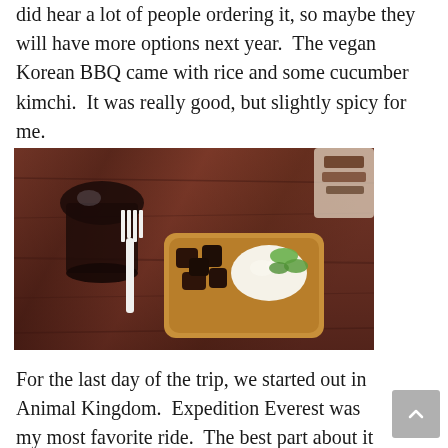did hear a lot of people ordering it, so maybe they will have more options next year.  The vegan Korean BBQ came with rice and some cucumber kimchi.  It was really good, but slightly spicy for me.
[Figure (photo): Overhead view of a food tray on a wooden table, containing vegan Korean BBQ with rice and cucumber kimchi, alongside a white plastic fork and a glass of dark liquid drink. Another food item is partially visible in the top right corner.]
For the last day of the trip, we started out in Animal Kingdom.  Expedition Everest was my most favorite ride.  The best part about it is that they have a single rider lane, so even if you don't have a fast pass, you won't have to wait too long.  I rode it multiple times in a row.  Animal